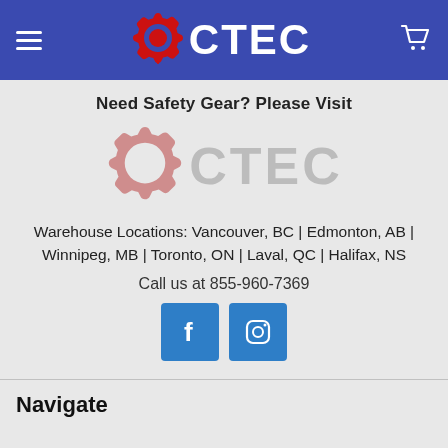[Figure (logo): CTEC company logo on blue navigation bar with hamburger menu icon on left and shopping cart icon on right]
Need Safety Gear? Please Visit
[Figure (logo): CTEC logo with red gear icon and grey CTEC text (faded/watermark style)]
Warehouse Locations: Vancouver, BC | Edmonton, AB | Winnipeg, MB | Toronto, ON | Laval, QC | Halifax, NS
Call us at 855-960-7369
[Figure (infographic): Facebook and Instagram social media icon buttons in blue squares]
Navigate